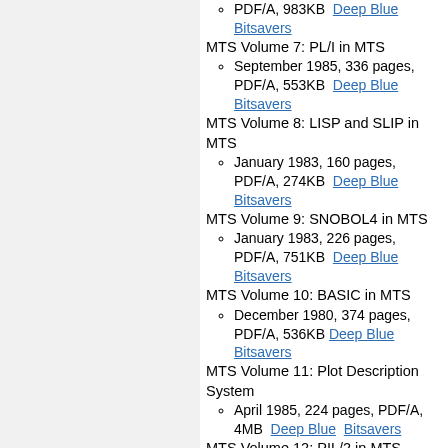PDF/A, 983KB  Deep Blue  Bitsavers
MTS Volume 7: PL/I in MTS
  September 1985, 336 pages, PDF/A, 553KB  Deep Blue  Bitsavers
MTS Volume 8: LISP and SLIP in MTS
  January 1983, 160 pages, PDF/A, 274KB  Deep Blue  Bitsavers
MTS Volume 9: SNOBOL4 in MTS
  January 1983, 226 pages, PDF/A, 751KB  Deep Blue  Bitsavers
MTS Volume 10: BASIC in MTS
  December 1980, 374 pages, PDF/A, 536KB  Deep Blue  Bitsavers
MTS Volume 11: Plot Description System
  April 1985, 224 pages, PDF/A, 4MB  Deep Blue  Bitsavers
MTS Volume 12: PIL/2 in MTS
  December 1974, 96 pages, PDF/A, 188KB  Deep Blue  Bitsavers
MTS Volume 13: The Symbolic Debugging System
  September 1985, 140 pages, PDF/A, 483KB  Deep Blue  Bitsavers